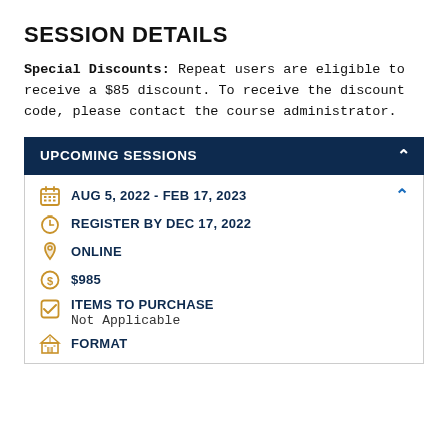SESSION DETAILS
Special Discounts: Repeat users are eligible to receive a $85 discount. To receive the discount code, please contact the course administrator.
UPCOMING SESSIONS
AUG 5, 2022 - FEB 17, 2023
REGISTER BY DEC 17, 2022
ONLINE
$985
ITEMS TO PURCHASE
Not Applicable
FORMAT